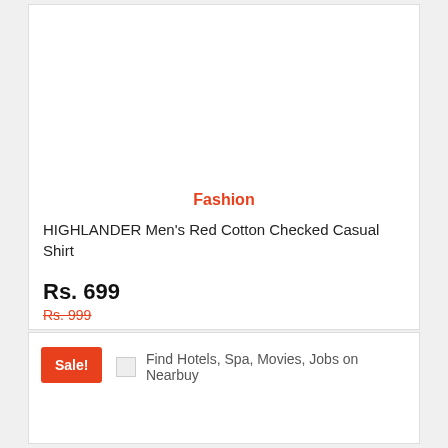Fashion
HIGHLANDER Men's Red Cotton Checked Casual Shirt
Rs. 699
Rs. 999
Visit Store
Sale!
Find Hotels, Spa, Movies, Jobs on Nearbuy